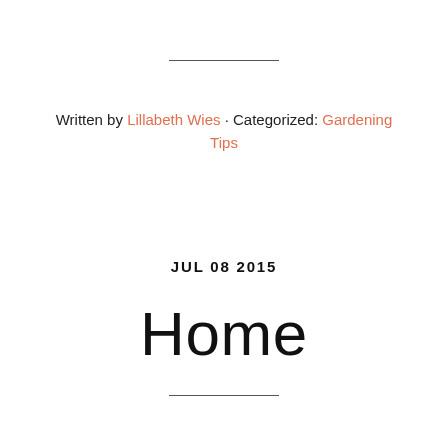Written by Lillabeth Wies · Categorized: Gardening Tips
JUL 08 2015
Home